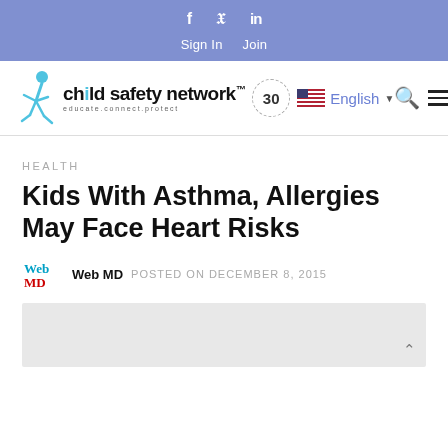f  twitter  in  Sign In  Join
[Figure (logo): Child Safety Network logo with kid jumping, tagline 'educate.connect.protect', 30th anniversary badge, US flag, English language selector, search icon, hamburger menu]
HEALTH
Kids With Asthma, Allergies May Face Heart Risks
Web MD  POSTED ON DECEMBER 8, 2015
[Figure (photo): Article photo placeholder (light grey background)]